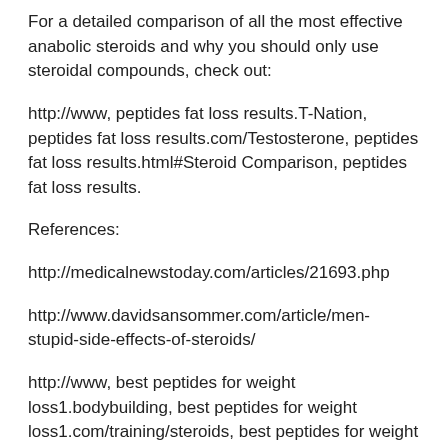For a detailed comparison of all the most effective anabolic steroids and why you should only use steroidal compounds, check out:
http://www, peptides fat loss results.T-Nation, peptides fat loss results.com/Testosterone, peptides fat loss results.html#Steroid Comparison, peptides fat loss results.
References:
http://medicalnewstoday.com/articles/21693.php
http://www.davidsansommer.com/article/men-stupid-side-effects-of-steroids/
http://www, best peptides for weight loss1.bodybuilding, best peptides for weight loss1.com/training/steroids, best peptides for weight loss1.html